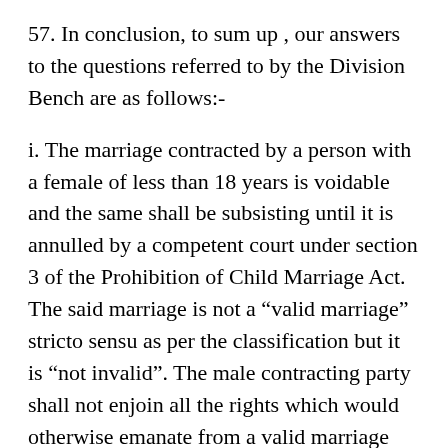57. In conclusion, to sum up , our answers to the questions referred to by the Division Bench are as follows:-
i. The marriage contracted by a person with a female of less than 18 years is voidable and the same shall be subsisting until it is annulled by a competent court under section 3 of the Prohibition of Child Marriage Act. The said marriage is not a “valid marriage” stricto sensu as per the classification but it is “not invalid”. The male contracting party shall not enjoin all the rights which would otherwise emanate from a valid marriage stricto sensu, instead he will enjoin only limited rights.
ii. The adult male contracting party to a child marriage with a female child shall not be the natural